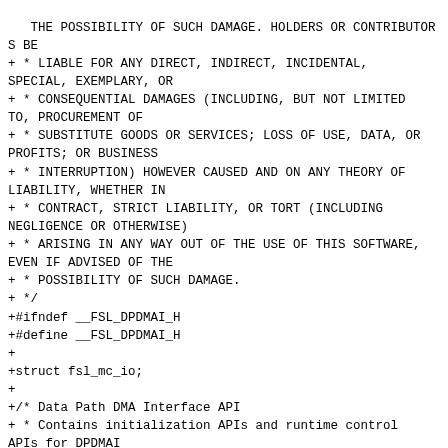THE POSSIBILITY OF SUCH DAMAGE. HOLDERS OR CONTRIBUTORS BE
+ * LIABLE FOR ANY DIRECT, INDIRECT, INCIDENTAL, SPECIAL, EXEMPLARY, OR
+ * CONSEQUENTIAL DAMAGES (INCLUDING, BUT NOT LIMITED TO, PROCUREMENT OF
+ * SUBSTITUTE GOODS OR SERVICES; LOSS OF USE, DATA, OR PROFITS; OR BUSINESS
+ * INTERRUPTION) HOWEVER CAUSED AND ON ANY THEORY OF LIABILITY, WHETHER IN
+ * CONTRACT, STRICT LIABILITY, OR TORT (INCLUDING NEGLIGENCE OR OTHERWISE)
+ * ARISING IN ANY WAY OUT OF THE USE OF THIS SOFTWARE, EVEN IF ADVISED OF THE
+ * POSSIBILITY OF SUCH DAMAGE.
+ */
+#ifndef __FSL_DPDMAI_H
+#define __FSL_DPDMAI_H
+
+struct fsl_mc_io;
+
+/* Data Path DMA Interface API
+ * Contains initialization APIs and runtime control APIs for DPDMAI
+ */
+
+/* General DPDMAI macros */
+
+/**
+ * Maximum number of Tx/Rx priorities per DPDMAI object